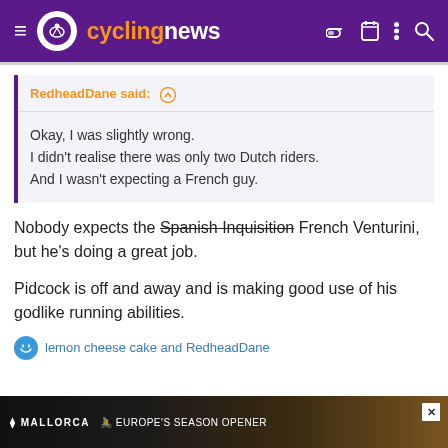cyclingnews
RedheadDane said: ↑
Okay, I was slightly wrong.
I didn't realise there was only two Dutch riders.
And I wasn't expecting a French guy.
Nobody expects the Spanish Inquisition French Venturini, but he's doing a great job.
Pidcock is off and away and is making good use of his godlike running abilities.
lemon cheese cake and RedheadDane
[Figure (other): Advertisement banner for Mallorca Europe's Season Opener]